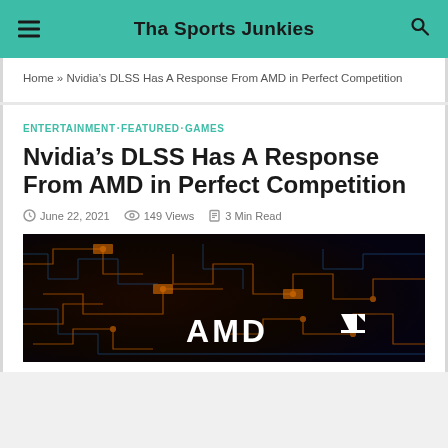Tha Sports Junkies
Home » Nvidia's DLSS Has A Response From AMD in Perfect Competition
ENTERTAINMENT·FEATURED·GAMES
Nvidia's DLSS Has A Response From AMD in Perfect Competition
June 22, 2021   149 Views   3 Min Read
[Figure (photo): Dark circuit board background with glowing orange and blue traces, AMD logo visible at bottom center]